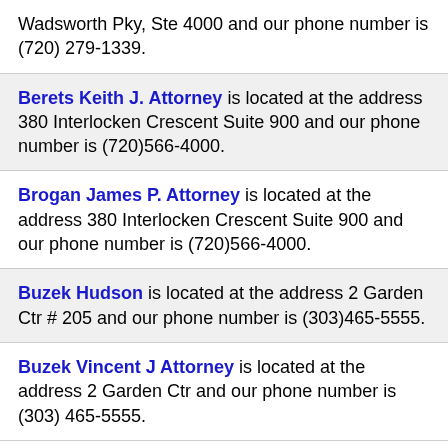Wadsworth Pky, Ste 4000 and our phone number is (720) 279-1339.
Berets Keith J. Attorney is located at the address 380 Interlocken Crescent Suite 900 and our phone number is (720)566-4000.
Brogan James P. Attorney is located at the address 380 Interlocken Crescent Suite 900 and our phone number is (720)566-4000.
Buzek Hudson is located at the address 2 Garden Ctr # 205 and our phone number is (303)465-5555.
Buzek Vincent J Attorney is located at the address 2 Garden Ctr and our phone number is (303) 465-5555.